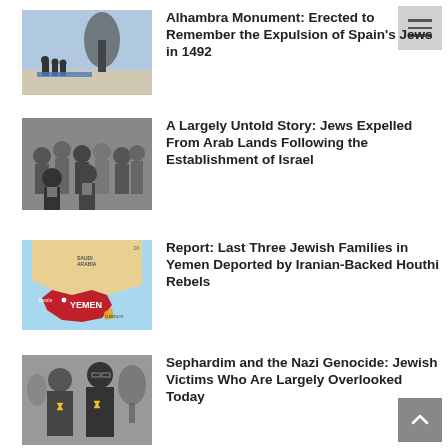[Figure (photo): Photo of people standing near a monument with stylized figures, outdoor ceremony]
Alhambra Monument: Erected to Remember the Expulsion of Spain's Jews in 1492
[Figure (photo): Black and white historical photo of a crowd of people, many women and children]
A Largely Untold Story: Jews Expelled From Arab Lands Following the Establishment of Israel
[Figure (map): Map highlighting Yemen in red with surrounding countries labeled including Saudi Arabia and Djibouti; Sana'a marked]
Report: Last Three Jewish Families in Yemen Deported by Iranian-Backed Houthi Rebels
[Figure (photo): Black and white photo of two people wearing Star of David badges]
Sephardim and the Nazi Genocide: Jewish Victims Who Are Largely Overlooked Today